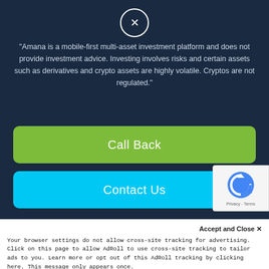[Figure (other): Close/dismiss button — circle with X symbol]
"Amana is a mobile-first multi-asset investment platform and does not provide investment advice. Investing involves risks and certain assets such as derivatives and crypto assets are highly volatile. Cryptos are not regulated."
Call Back
Contact Us
Follow Us:
[Figure (infographic): Social media icons row: Facebook, Twitter, Instagram, LinkedIn, YouTube]
[Figure (other): reCAPTCHA badge with logo and Privacy - Terms text]
Accept and Close ✕
Your browser settings do not allow cross-site tracking for advertising. Click on this page to allow AdRoll to use cross-site tracking to tailor ads to you. Learn more or opt out of this AdRoll tracking by clicking here. This message only appears once.